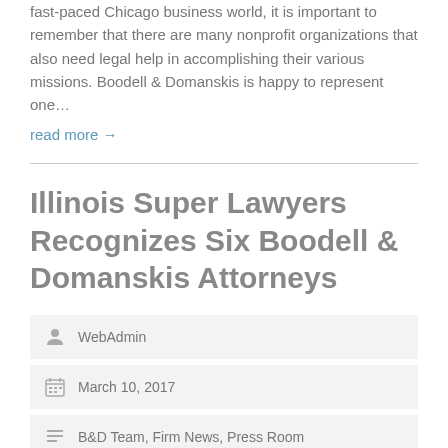fast-paced Chicago business world, it is important to remember that there are many nonprofit organizations that also need legal help in accomplishing their various missions. Boodell & Domanskis is happy to represent one…
read more →
Illinois Super Lawyers Recognizes Six Boodell & Domanskis Attorneys
WebAdmin
March 10, 2017
B&D Team, Firm News, Press Room